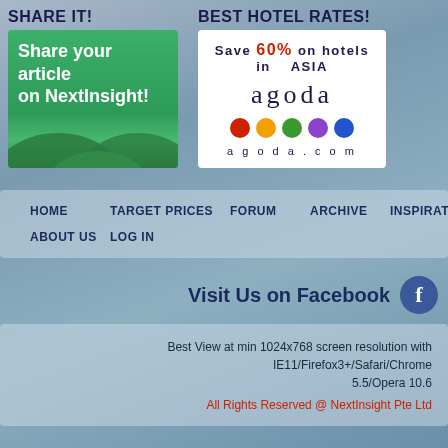SHARE IT!
[Figure (illustration): Share your article on NextInsight promotional banner with green background and hills]
BEST HOTEL RATES!
[Figure (illustration): Agoda hotel booking ad: Save 60% on hotels in ASIA, with agoda logo, colored dots, and agoda.com]
HOME   TARGET PRICES   FORUM   ARCHIVE   INSPIRATION   ABOUT US   LOG IN
Visit Us on Facebook
Best View at min 1024x768 screen resolution with IE11/Firefox3+/Safari/Chrome 5.5/Opera 10.6
All Rights Reserved @ NextInsight Pte Ltd